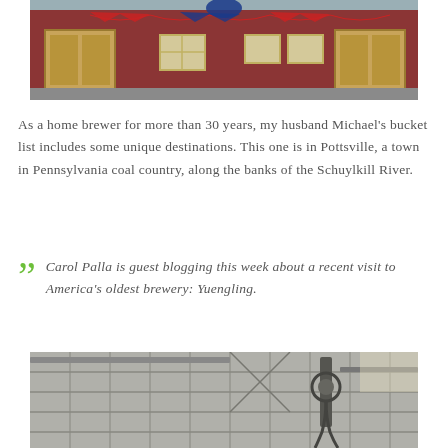[Figure (photo): Red brick brewery building exterior with patriotic bunting decorations, wooden garage doors, and multiple windows]
As a home brewer for more than 30 years, my husband Michael's bucket list includes some unique destinations. This one is in Pottsville, a town in Pennsylvania coal country, along the banks of the Schuylkill River.
Carol Palla is guest blogging this week about a recent visit to America's oldest brewery: Yuengling.
[Figure (photo): Interior of brewery showing industrial ceiling with chains, pulleys and metal framework]